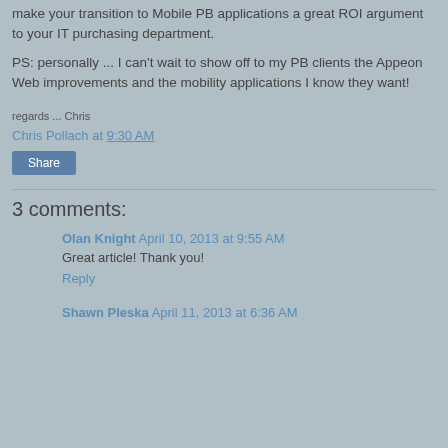make your transition to Mobile PB applications a great ROI argument to your IT purchasing department.
PS: personally ...  I can't wait to show off to my PB clients the Appeon Web improvements and the mobility applications I know they want!
regards ... Chris
Chris Pollach at 9:30 AM
Share
3 comments:
Olan Knight  April 10, 2013 at 9:55 AM
Great article! Thank you!
Reply
Shawn Pleska  April 11, 2013 at 6:36 AM